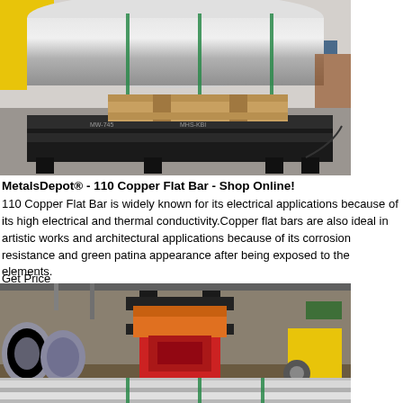[Figure (photo): Industrial warehouse scene showing large metal rolls/cylinders on a pallet and a black weighing platform. Green straps visible around the rolls. Wooden pallet underneath.]
MetalsDepot® - 110 Copper Flat Bar - Shop Online!
110 Copper Flat Bar is widely known for its electrical applications because of its high electrical and thermal conductivity.Copper flat bars are also ideal in artistic works and architectural applications because of its corrosion resistance and green patina appearance after being exposed to the elements.
Get Price
[Figure (photo): Industrial warehouse with a large red and black forklift carrying metal rolls. Metal coils visible on the left side. Yellow equipment visible on the right.]